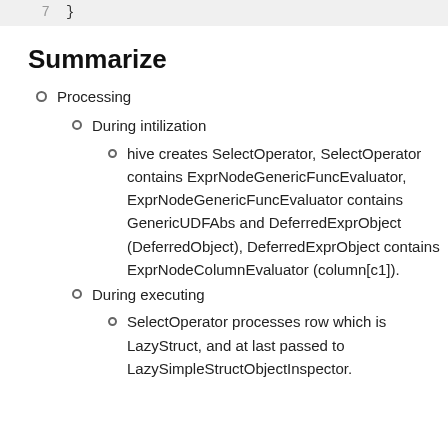7   }
Summarize
Processing
During intilization
hive creates SelectOperator, SelectOperator contains ExprNodeGenericFuncEvaluator, ExprNodeGenericFuncEvaluator contains GenericUDFAbs and DeferredExprObject (DeferredObject), DeferredExprObject contains ExprNodeColumnEvaluator (column[c1]).
During executing
SelectOperator processes row which is LazyStruct, and at last passed to LazySimpleStructObjectInspector.